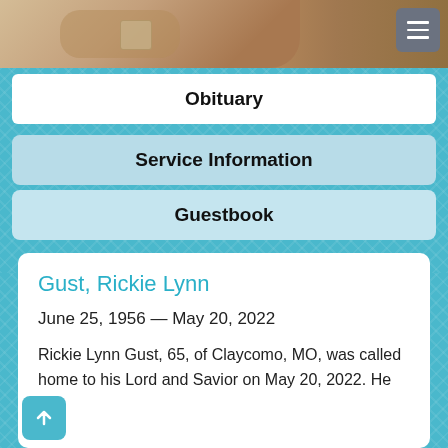[Figure (photo): Partial photo of a person's hands/wrist with a watch visible, against a close-up background. A hamburger menu button (three horizontal lines on gray background) is visible in the top-right corner.]
Obituary
Service Information
Guestbook
Gust, Rickie Lynn
June 25, 1956 — May 20, 2022
Rickie Lynn Gust, 65, of Claycomo, MO, was called home to his Lord and Savior on May 20, 2022. He